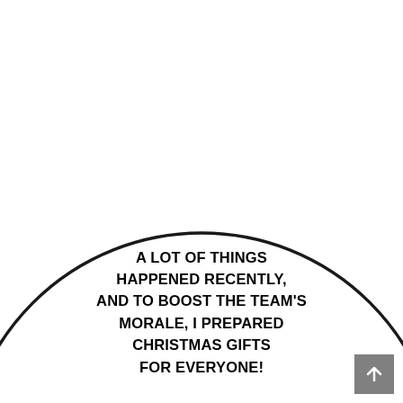[Figure (illustration): A large speech bubble (circle outline) with text inside reading: A LOT OF THINGS HAPPENED RECENTLY, AND TO BOOST THE TEAM'S MORALE, I PREPARED CHRISTMAS GIFTS FOR EVERYONE!]
A LOT OF THINGS HAPPENED RECENTLY, AND TO BOOST THE TEAM'S MORALE, I PREPARED CHRISTMAS GIFTS FOR EVERYONE!